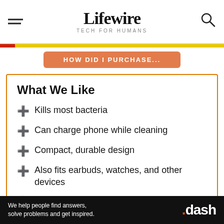Lifewire — TECH FOR HUMANS
What We Like
Kills most bacteria
Can charge phone while cleaning
Compact, durable design
Also fits earbuds, watches, and other devices
Provides peace of mind
We help people find answers, solve problems and get inspired. .dash